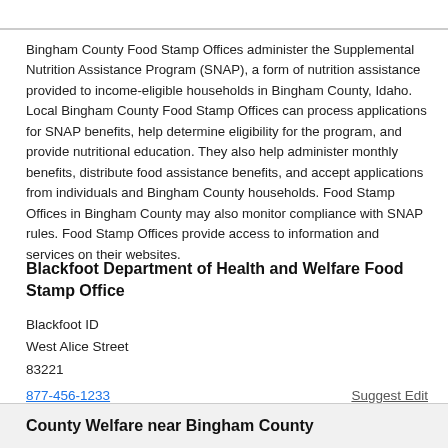Bingham County Food Stamp Offices administer the Supplemental Nutrition Assistance Program (SNAP), a form of nutrition assistance provided to income-eligible households in Bingham County, Idaho. Local Bingham County Food Stamp Offices can process applications for SNAP benefits, help determine eligibility for the program, and provide nutritional education. They also help administer monthly benefits, distribute food assistance benefits, and accept applications from individuals and Bingham County households. Food Stamp Offices in Bingham County may also monitor compliance with SNAP rules. Food Stamp Offices provide access to information and services on their websites.
Blackfoot Department of Health and Welfare Food Stamp Office
Blackfoot ID
West Alice Street
83221
877-456-1233
Suggest Edit
County Welfare near Bingham County